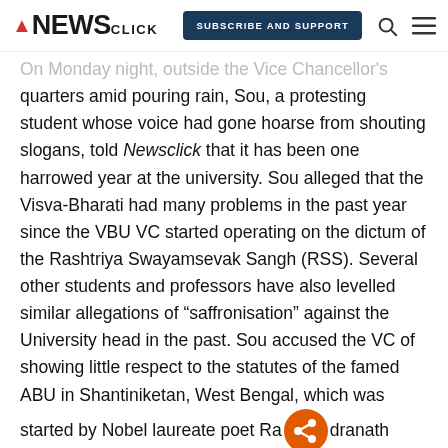NEWSCLICK | SUBSCRIBE AND SUPPORT
On Monday night, outside the Vice Chancellor's quarters amid pouring rain, Sou, a protesting student whose voice had gone hoarse from shouting slogans, told Newsclick that it has been one harrowed year at the university. Sou alleged that the Visva-Bharati had many problems in the past year since the VBU VC started operating on the dictum of the Rashtriya Swayamsevak Sangh (RSS). Several other students and professors have also levelled similar allegations of “saffronisation” against the University head in the past. Sou accused the VC of showing little respect to the statutes of the famed ABU in Shantiniketan, West Bengal, which was started by Nobel laureate poet Rabindranath Tagore.